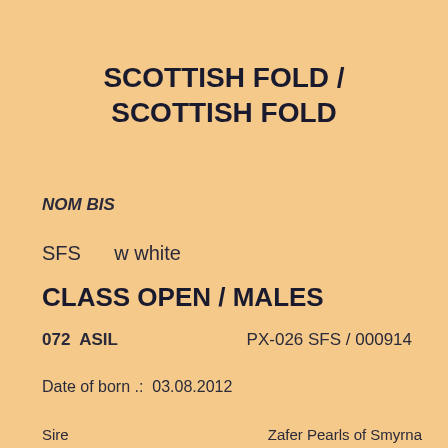SCOTTISH FOLD / SCOTTISH FOLD
NOM BIS
SFS    w white
CLASS OPEN / MALES
072  ASIL    PX-026 SFS / 000914
Date of born .:  03.08.2012
Sire    Zafer Pearls of Smyrna